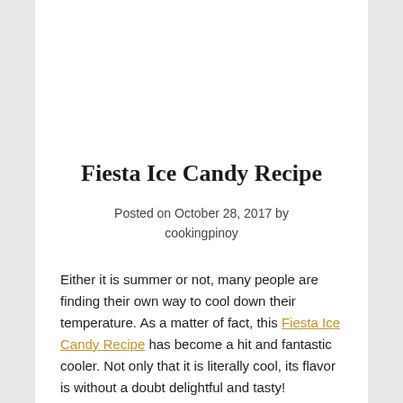Fiesta Ice Candy Recipe
Posted on October 28, 2017 by cookingpinoy
Either it is summer or not, many people are finding their own way to cool down their temperature. As a matter of fact, this Fiesta Ice Candy Recipe has become a hit and fantastic cooler. Not only that it is literally cool, its flavor is without a doubt delightful and tasty!
If you are into this 'ice candy craze' then you can get a